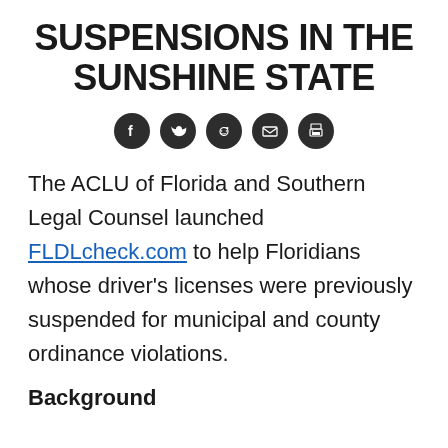SUSPENSIONS IN THE SUNSHINE STATE
[Figure (other): Row of five social media share icons (Facebook, Twitter, Reddit, Email, Print) as white icons on dark circular backgrounds]
The ACLU of Florida and Southern Legal Counsel launched FLDLcheck.com to help Floridians whose driver's licenses were previously suspended for municipal and county ordinance violations.
Background